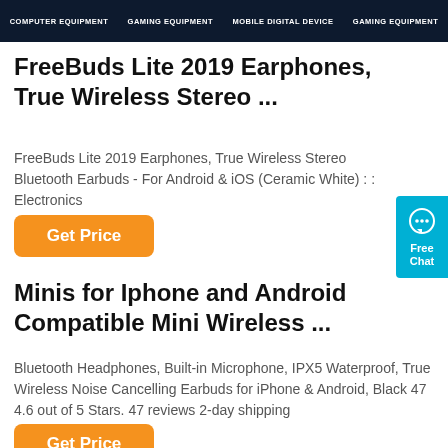[Figure (screenshot): Dark banner with gaming/tech category labels: COMPUTER EQUIPMENT, GAMING EQUIPMENT, MOBILE DIGITAL DEVICE, GAMING EQUIPMENT]
FreeBuds Lite 2019 Earphones, True Wireless Stereo ...
FreeBuds Lite 2019 Earphones, True Wireless Stereo Bluetooth Earbuds - For Android & iOS (Ceramic White) : : Electronics
Get Price
[Figure (infographic): Free Chat widget with chat bubble icon]
Minis for Iphone and Android Compatible Mini Wireless ...
Bluetooth Headphones, Built-in Microphone, IPX5 Waterproof, True Wireless Noise Cancelling Earbuds for iPhone & Android, Black 47 4.6 out of 5 Stars. 47 reviews 2-day shipping
Get Price